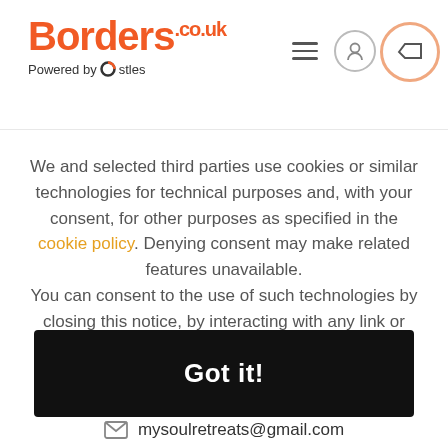Borders.co.uk — Powered by Ostles
We and selected third parties use cookies or similar technologies for technical purposes and, with your consent, for other purposes as specified in the cookie policy. Denying consent may make related features unavailable. You can consent to the use of such technologies by closing this notice, by interacting with any link or button outside of this notice or by continuing to browse otherwise.
Got it!
mysoulretreats@gmail.com